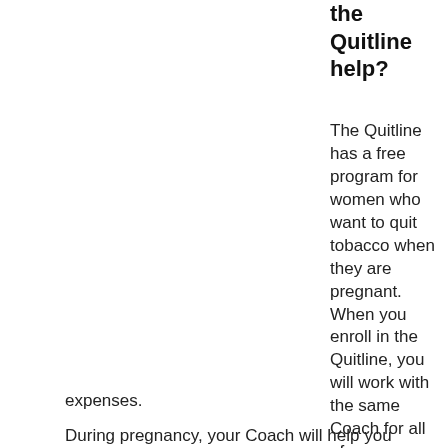the Quitline help?
The Quitline has a free program for women who want to quit tobacco when they are pregnant. When you enroll in the Quitline, you will work with the same Coach for all of your appointments. After each call, you will receive a gift card in the mail to help with pregnancy and postpartum expenses.
During pregnancy, your Coach will help you design your